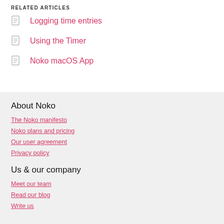RELATED ARTICLES
Logging time entries
Using the Timer
Noko macOS App
About Noko
The Noko manifesto
Noko plans and pricing
Our user agreement
Privacy policy
Us & our company
Meet our team
Read our blog
Write us